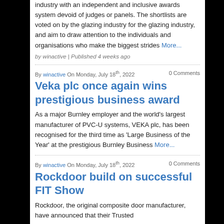industry with an independent and inclusive awards system devoid of judges or panels. The shortlists are voted on by the glazing industry for the glazing industry, and aim to draw attention to the individuals and organisations who make the biggest strides More...
by winactive | Published 4 weeks ago
By winactive On Monday, July 18th, 2022   0 Comments
Veka plc once again wins prestigious business award
As a major Burnley employer and the world's largest manufacturer of PVC-U systems, VEKA plc, has been recognised for the third time as 'Large Business of the Year' at the prestigious Burnley Business More...
By winactive On Monday, July 18th, 2022   0 Comments
Rockdoor build on successful FIT Show
Rockdoor, the original composite door manufacturer, have announced that their Trusted